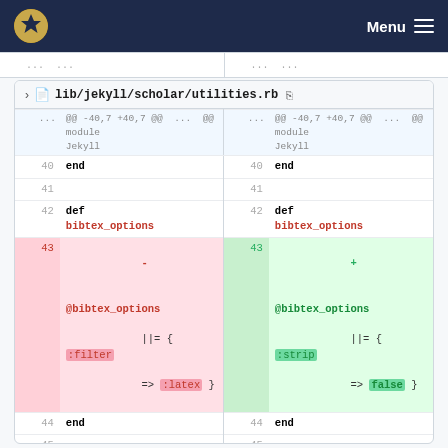Menu
lib/jekyll/scholar/utilities.rb
| Line (old) | Code (old) | Line (new) | Code (new) |
| --- | --- | --- | --- |
| ... | @@ -40,7 +40,7 @@ module Jekyll | ... | @@ -40,7 +40,7 @@ module Jekyll |
| 40 | end | 40 | end |
| 41 |  | 41 |  |
| 42 | def bibtex_options | 42 | def bibtex_options |
| 43 - | @bibtex_options ||= { :filter => :latex } | 43 + | @bibtex_options ||= { :strip => false } |
| 44 | end | 44 | end |
| 45 |  | 45 |  |
| 46 | def bibtex_path | 46 | def bibtex_path |
| ... | @@ -82,6 +82,7 @@ module Jekyll | ... | @@ -82,6 +82,7 @@ module Jekyll |
| ... | @@ module | ... | @@ module |